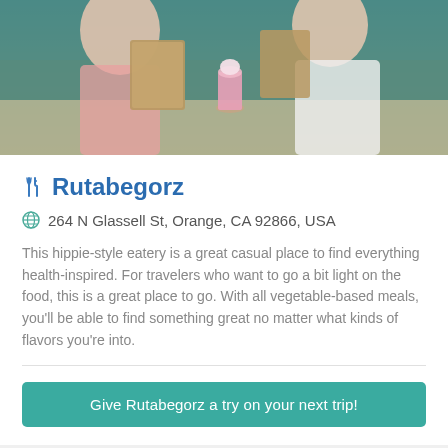[Figure (photo): Photo of two people at a restaurant table looking at menus, with a pink milkshake visible]
Rutabegorz
264 N Glassell St, Orange, CA 92866, USA
This hippie-style eatery is a great casual place to find everything health-inspired. For travelers who want to go a bit light on the food, this is a great place to go. With all vegetable-based meals, you'll be able to find something great no matter what kinds of flavors you're into.
Give Rutabegorz a try on your next trip!
The top eateries in Santa Ana and Orange County!
Instapark Features